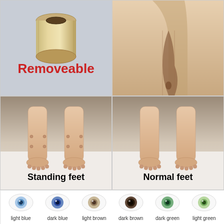[Figure (photo): Photo of a removeable cylindrical tube/insert for a doll, shown on gray background, with red 'Removeable' text overlay]
[Figure (photo): Close-up photo of a doll body part on beige background]
[Figure (photo): Doll legs with standing feet (with bolt joints visible) labeled 'Standing feet']
[Figure (photo): Doll legs with normal feet labeled 'Normal feet']
[Figure (illustration): Six eye color options shown as eye ball images: light blue, dark blue, light brown, dark brown, dark green, light green with labels below]